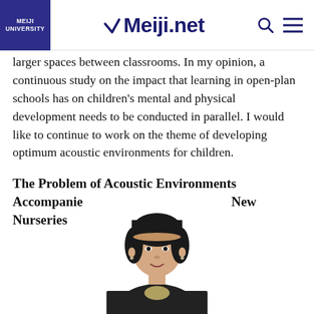MEIJI UNIVERSITY | Meiji.net
larger spaces between classrooms. In my opinion, a continuous study on the impact that learning in open-plan schools has on children's mental and physical development needs to be conducted in parallel. I would like to continue to work on the theme of developing optimum acoustic environments for children.
The Problem of Acoustic Environments Accompanied by the Establishment of New Nurseries
[Figure (photo): Portrait photo of a woman with short black hair, wearing a dark blazer, smiling, centered in the lower portion of the page.]